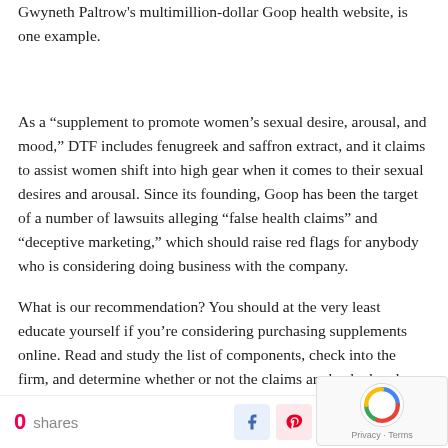Gwyneth Paltrow's multimillion-dollar Goop health website, is one example.
As a “supplement to promote women’s sexual desire, arousal, and mood,” DTF includes fenugreek and saffron extract, and it claims to assist women shift into high gear when it comes to their sexual desires and arousal. Since its founding, Goop has been the target of a number of lawsuits alleging “false health claims” and “deceptive marketing,” which should raise red flags for anybody who is considering doing business with the company.
What is our recommendation? You should at the very least educate yourself if you’re considering purchasing supplements online. Read and study the list of components, check into the firm, and determine whether or not the claims are backed up by a respected expert.
0 shares